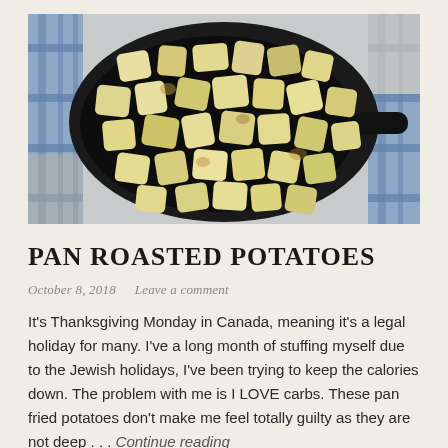[Figure (photo): Overhead photo of cubed pan roasted potatoes in a black cast iron skillet, with a blue plaid cloth visible around the edges]
PAN ROASTED POTATOES
October 8, 2018   Leave a comment
It's Thanksgiving Monday in Canada, meaning it's a legal holiday for many. I've a long month of stuffing myself due to the Jewish holidays, I've been trying to keep the calories down. The problem with me is I LOVE carbs. These pan fried potatoes don't make me feel totally guilty as they are not deep . . . Continue reading